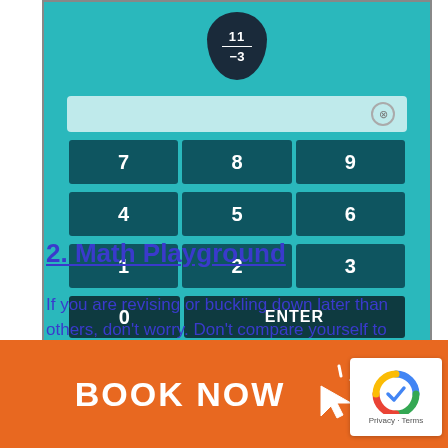[Figure (screenshot): Screenshot of a math game app showing a drop-shaped token with '11 / -3', an input field with an X button, and a numeric keypad (7-9, 4-6, 1-3, 0, ENTER) on a teal background]
Basic Calculations
2. Math Playground
If you are revising or buckling down later than others, don't worry. Don't compare yourself to others, this is your life, not theirs. I honestly believe
BOOK NOW